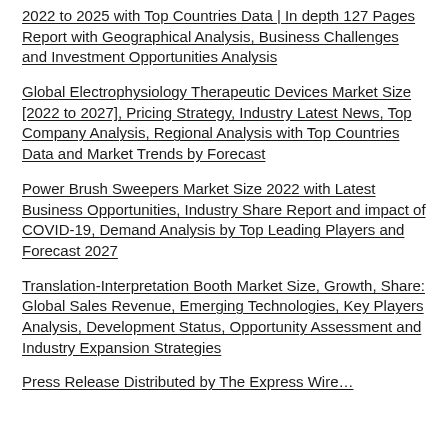2022 to 2025 with Top Countries Data | In depth 127 Pages Report with Geographical Analysis, Business Challenges and Investment Opportunities Analysis
Global Electrophysiology Therapeutic Devices Market Size [2022 to 2027], Pricing Strategy, Industry Latest News, Top Company Analysis, Regional Analysis with Top Countries Data and Market Trends by Forecast
Power Brush Sweepers Market Size 2022 with Latest Business Opportunities, Industry Share Report and impact of COVID-19, Demand Analysis by Top Leading Players and Forecast 2027
Translation-Interpretation Booth Market Size, Growth, Share: Global Sales Revenue, Emerging Technologies, Key Players Analysis, Development Status, Opportunity Assessment and Industry Expansion Strategies
Press Release Distributed by The Express Wire…